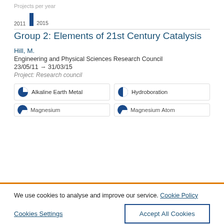[Figure (bar-chart): Projects per year]
Group 2: Elements of 21st Century Catalysis
Hill, M.
Engineering and Physical Sciences Research Council
23/05/11 → 31/03/15
Project: Research council
Alkaline Earth Metal
Hydroboration
Magnesium
Magnesium Atom
We use cookies to analyse and improve our service. Cookie Policy
Cookies Settings
Accept All Cookies